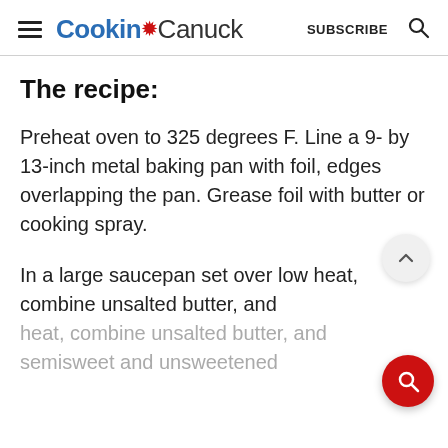Cookin' Canuck   SUBSCRIBE
The recipe:
Preheat oven to 325 degrees F. Line a 9- by 13-inch metal baking pan with foil, edges overlapping the pan. Grease foil with butter or cooking spray.
In a large saucepan set over low heat, combine unsalted butter, and semisweet and unsweetened